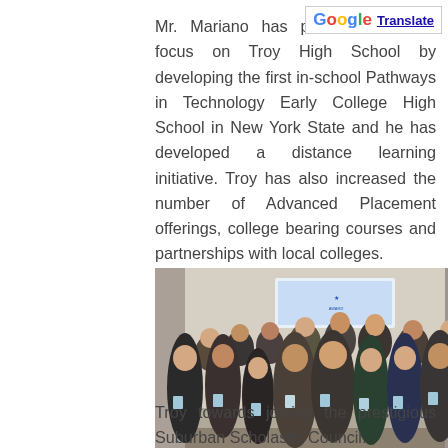[Figure (other): Google Translate button in top right corner]
Mr. Mariano has put an academic focus on Troy High School by developing the first in-school Pathways in Technology Early College High School in New York State and he has developed a distance learning initiative. Troy has also increased the number of Advanced Placement offerings, college bearing courses and partnerships with local colleges.
[Figure (photo): Group photo of approximately 14 people dressed formally, standing together at what appears to be an awards ceremony. Several individuals are holding glass award trophies. There is a banner/sign visible in the background.]
He has also guided
Troy towards joining the prestigious Suburban Scholastic Council.